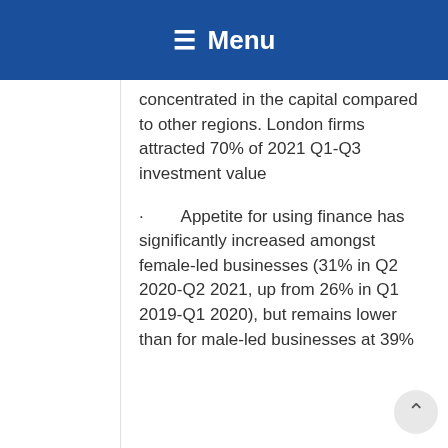≡  Menu
concentrated in the capital compared to other regions. London firms attracted 70% of 2021 Q1-Q3 investment value
·        Appetite for using finance has significantly increased amongst female-led businesses (31% in Q2 2020-Q2 2021, up from 26% in Q1 2019-Q1 2020), but remains lower than for male-led businesses at 39%